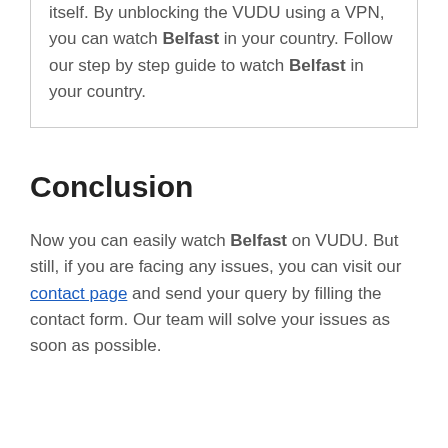itself. By unblocking the VUDU using a VPN, you can watch Belfast in your country. Follow our step by step guide to watch Belfast in your country.
Conclusion
Now you can easily watch Belfast on VUDU. But still, if you are facing any issues, you can visit our contact page and send your query by filling the contact form. Our team will solve your issues as soon as possible.